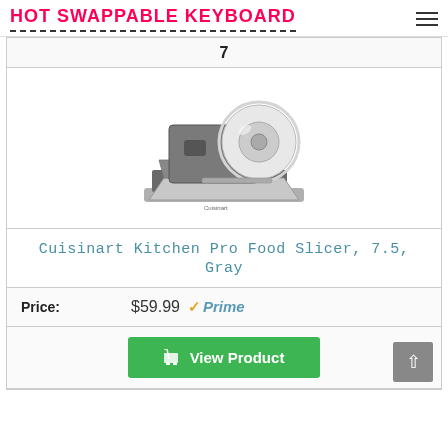HOT SWAPPABLE KEYBOARD
7
[Figure (photo): Cuisinart Kitchen Pro Food Slicer, 7.5, Gray - product photo showing a stainless steel electric food slicer with circular blade and gray body]
Cuisinart Kitchen Pro Food Slicer, 7.5, Gray
Price: $59.99 Prime
View Product